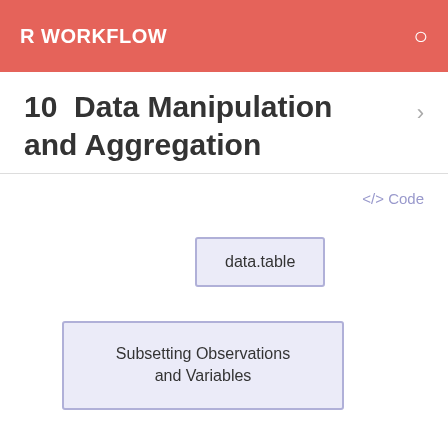R WORKFLOW
10  Data Manipulation and Aggregation
</> Code
data.table
Subsetting Observations and Variables